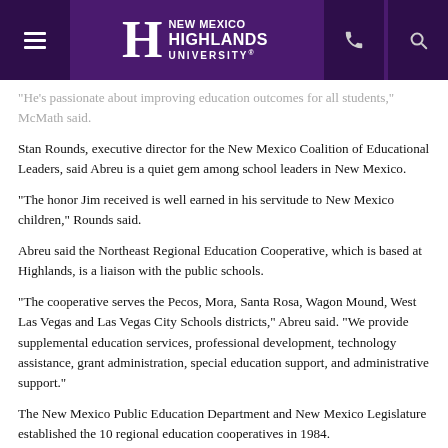New Mexico Highlands University
“He’s passionate about improving education outcomes for all students,” McMath said.
Stan Rounds, executive director for the New Mexico Coalition of Educational Leaders, said Abreu is a quiet gem among school leaders in New Mexico.
“The honor Jim received is well earned in his servitude to New Mexico children,” Rounds said.
Abreu said the Northeast Regional Education Cooperative, which is based at Highlands, is a liaison with the public schools.
“The cooperative serves the Pecos, Mora, Santa Rosa, Wagon Mound, West Las Vegas and Las Vegas City Schools districts,” Abreu said. “We provide supplemental education services, professional development, technology assistance, grant administration, special education support, and administrative support.”
The New Mexico Public Education Department and New Mexico Legislature established the 10 regional education cooperatives in 1984.